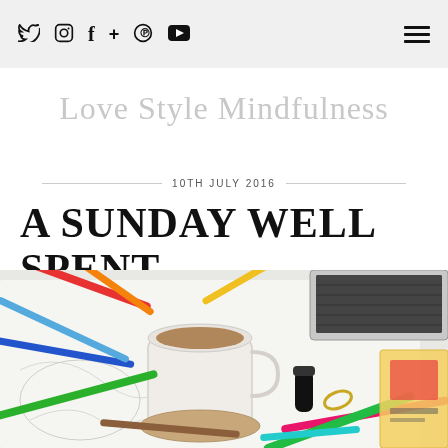Social icons: Twitter, Instagram, Facebook, Google+, Pinterest, YouTube; Hamburger menu
Love Style Mindfulness
10TH JULY 2016
A SUNDAY WELL SPENT . .
[Figure (photo): Flat lay photo of a desk with colorful felt-tip pens and markers scattered on white paper with drawings, a white mug of coffee on a cork coaster, a laptop keyboard, a black pen cap, a gold ring, and a magazine in the background.]